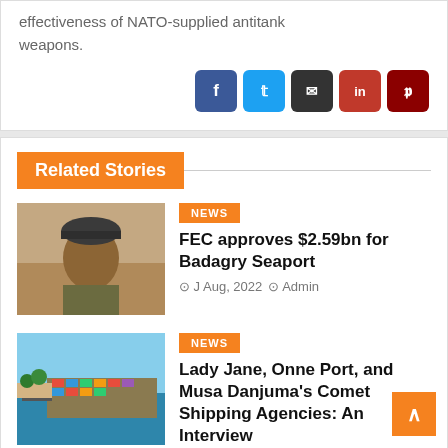effectiveness of NATO-supplied antitank weapons.
Related Stories
[Figure (photo): Portrait photo of a man wearing a traditional embroidered cap and olive-colored clothing]
FEC approves $2.59bn for Badagry Seaport
J Aug, 2022  Admin
[Figure (photo): Aerial view of a port/seaport with ships and cargo containers]
Lady Jane, Onne Port, and Musa Danjuma's Comet Shipping Agencies: An Interview